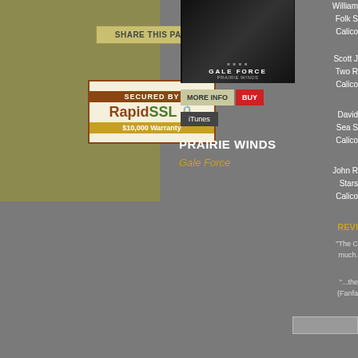[Figure (screenshot): Share This Page button on olive/tan background]
[Figure (logo): RapidSSL Secured By badge with $10,000 Warranty]
[Figure (photo): Gale Force album cover - dark image with text GALE FORCE]
MORE INFO
BUY
iTunes
PRAIRIE WINDS
Gale Force
William
Folk S
Calico
Scott J
Two R
Calico
David
Sea S
Calico
John R
Stars
Calico
REVI
"The C much.
"...the (Fanfa